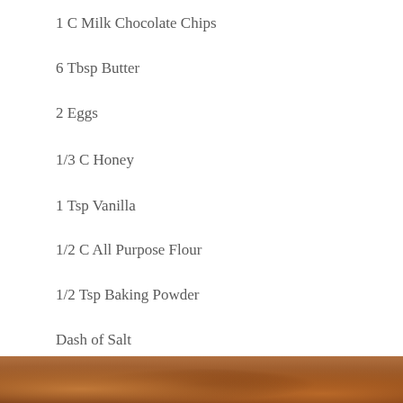1 C Milk Chocolate Chips
6 Tbsp Butter
2 Eggs
1/3 C Honey
1 Tsp Vanilla
1/2 C All Purpose Flour
1/2 Tsp Baking Powder
Dash of Salt
[Figure (photo): Photo of baked chocolate brownie or cookie at the bottom of the page]